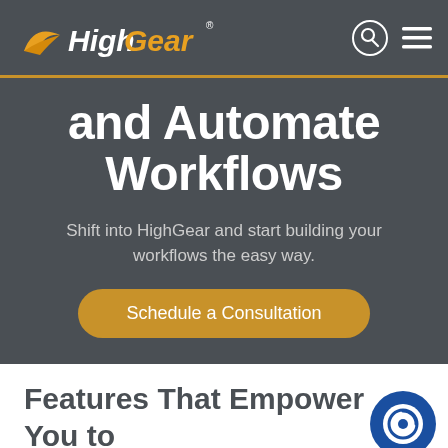HighGear
and Automate Workflows
Shift into HighGear and start building your workflows the easy way.
Schedule a Consultation
Features That Empower You to